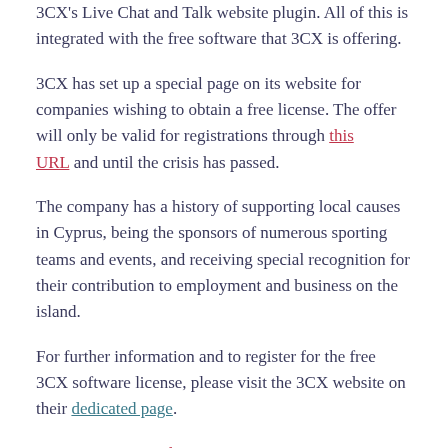3CX's Live Chat and Talk website plugin. All of this is integrated with the free software that 3CX is offering.
3CX has set up a special page on its website for companies wishing to obtain a free license. The offer will only be valid for registrations through this URL and until the crisis has passed.
The company has a history of supporting local causes in Cyprus, being the sponsors of numerous sporting teams and events, and receiving special recognition for their contribution to employment and business on the island.
For further information and to register for the free 3CX software license, please visit the 3CX website on their dedicated page.
Source: CyprusMail